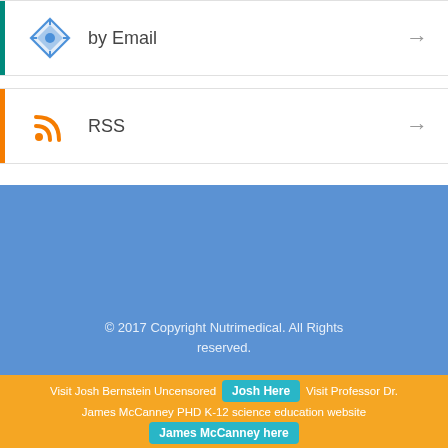by Email →
RSS →
© 2017 Copyright Nutrimedical. All Rights reserved.
Visit Josh Bernstein Uncensored  Josh Here  Visit Professor Dr. James McCanney PHD K-12 science education website  James McCanney here